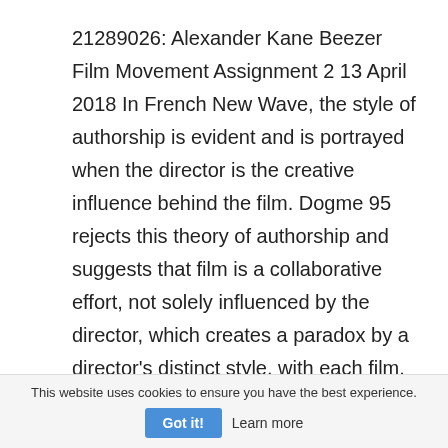21289026: Alexander Kane Beezer Film Movement Assignment 2 13 April 2018 In French New Wave, the style of authorship is evident and is portrayed when the director is the creative influence behind the film. Dogme 95 rejects this theory of authorship and suggests that film is a collaborative effort, not solely influenced by the director, which creates a paradox by a director's distinct style, with each film. Authorship is a
The mental and cultural differences of Benjamin
This website uses cookies to ensure you have the best experience.